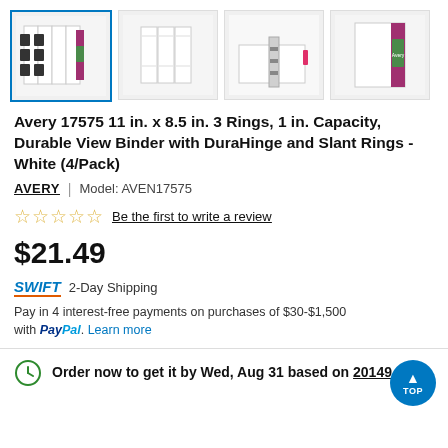[Figure (photo): Four product thumbnail images of Avery binders. First thumbnail is selected with blue border showing a 4-pack of white binders. Second shows three white binders stacked. Third shows an open binder ring mechanism. Fourth shows a single binder with packaging.]
Avery 17575 11 in. x 8.5 in. 3 Rings, 1 in. Capacity, Durable View Binder with DuraHinge and Slant Rings - White (4/Pack)
AVERY | Model: AVEN17575
☆☆☆☆☆ Be the first to write a review
$21.49
SWIFT 2-Day Shipping
Pay in 4 interest-free payments on purchases of $30-$1,500 with PayPal. Learn more
Order now to get it by Wed, Aug 31 based on 20149